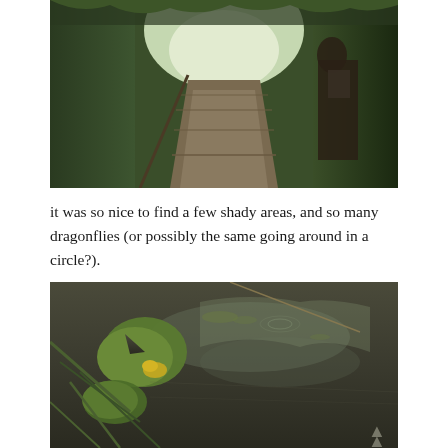[Figure (photo): A wooden boardwalk path through lush green vegetation, dappled sunlight ahead, a person visible on the right side in shadow holding what appears to be a bag.]
it was so nice to find a few shady areas, and so many dragonflies (or possibly the same going around in a circle?).
[Figure (photo): Close-up of a lily pad with a yellow flower on dark still water, with reflections of trees and sky. Green reeds and aquatic plants visible on the left side.]